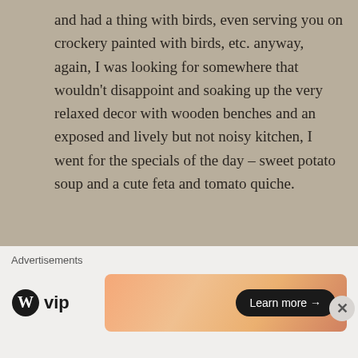and had a thing with birds, even serving you on crockery painted with birds, etc. anyway, again, I was looking for somewhere that wouldn't disappoint and soaking up the very relaxed decor with wooden benches and an exposed and lively but not noisy kitchen, I went for the specials of the day – sweet potato soup and a cute feta and tomato quiche.
[Figure (photo): A restaurant table scene showing a white plate with a green salad garnish and a cherry tomato, placed on a dark wooden table. In the background, a white plate with silverware (knife and fork) is visible.]
Advertisements
[Figure (logo): WordPress VIP logo — WordPress 'W' circle logo followed by 'vip' text in bold]
[Figure (infographic): Advertisement banner with warm orange/peach gradient background and a 'Learn more →' button in dark pill shape on the right]